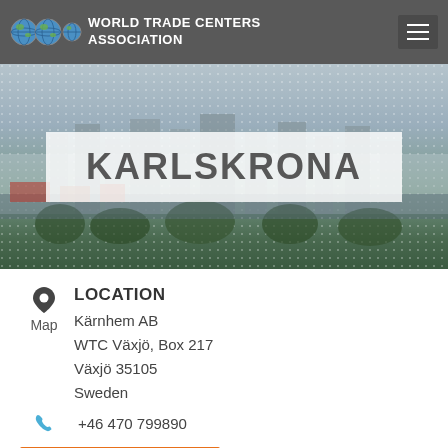World Trade Centers Association
[Figure (photo): Aerial view of Karlskrona city with waterfront, buildings and trees in the background. Hero banner with city name overlaid.]
KARLSKRONA
LOCATION
Map
Kärnhem AB
WTC Växjö, Box 217
Växjö 35105
Sweden
+46 470 799890
Contact